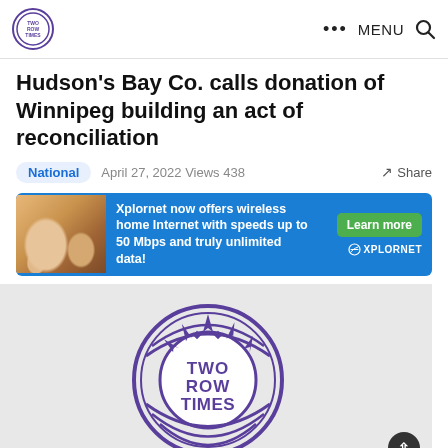Two Row Times navigation — logo, MENU, search icon
Hudson's Bay Co. calls donation of Winnipeg building an act of reconciliation
National   April 27, 2022 Views 438   Share
[Figure (photo): Xplornet advertisement banner: family photo on left, text 'Xplornet now offers wireless home Internet with speeds up to 50 Mbps and truly unlimited data!', green Learn more button, Xplornet logo]
[Figure (logo): Two Row Times circular logo on grey background — purple circular badge with feathers/arrows design at top and text TWO ROW TIMES in center]